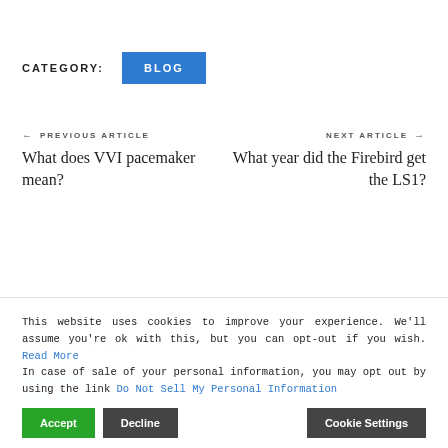CATEGORY:   BLOG
← PREVIOUS ARTICLE
What does VVI pacemaker mean?
NEXT ARTICLE →
What year did the Firebird get the LS1?
RECENT POSTS
Top Wes Anderson Films
This website uses cookies to improve your experience. We'll assume you're ok with this, but you can opt-out if you wish. Read More
In case of sale of your personal information, you may opt out by using the link Do Not Sell My Personal Information
Accept   Decline   Cookie Settings